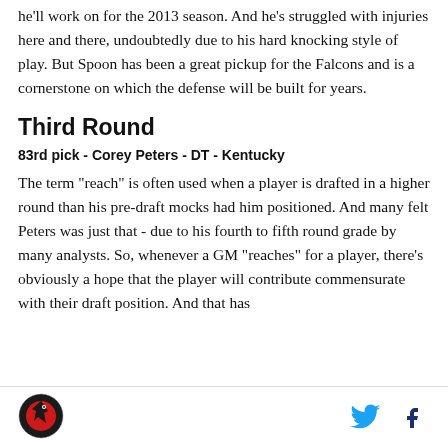he'll work on for the 2013 season. And he's struggled with injuries here and there, undoubtedly due to his hard knocking style of play. But Spoon has been a great pickup for the Falcons and is a cornerstone on which the defense will be built for years.
Third Round
83rd pick - Corey Peters - DT - Kentucky
The term "reach" is often used when a player is drafted in a higher round than his pre-draft mocks had him positioned. And many felt Peters was just that - due to his fourth to fifth round grade by many analysts. So, whenever a GM "reaches" for a player, there's obviously a hope that the player will contribute commensurate with their draft position. And that has
[Figure (logo): Sports team logo - red falcon on black circular background]
[Figure (logo): Twitter bird icon in blue]
[Figure (logo): Facebook f icon in dark blue/navy]